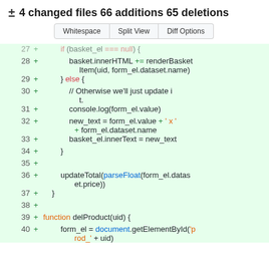± 4 changed files 66 additions 65 deletions
[Figure (screenshot): Git diff view showing code additions in JavaScript. Lines 27-40 displayed with green background indicating additions. Code shows basket/form logic including innerHTML, else branch, console.log, new_text assignment, basket_el.innerText, updateTotal with parseFloat, closing brace, function delProduct definition, and form_el getElementById call.]